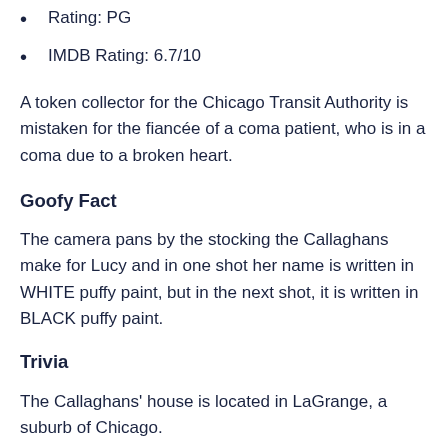Rating: PG
IMDB Rating: 6.7/10
A token collector for the Chicago Transit Authority is mistaken for the fiancée of a coma patient, who is in a coma due to a broken heart.
Goofy Fact
The camera pans by the stocking the Callaghans make for Lucy and in one shot her name is written in WHITE puffy paint, but in the next shot, it is written in BLACK puffy paint.
Trivia
The Callaghans' house is located in LaGrange, a suburb of Chicago.
Best Quote: